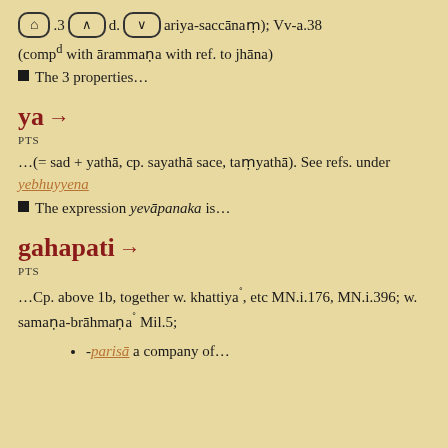🏠 .3 ^ d. ∨ ariya-saccānaṃ); Vv-a.38 (compd with ārammaṇa with ref. to jhāna)
■ The 3 properties…
ya →
PTS
…(= sad + yathā, cp. sayathā sace, taṃyathā). See refs. under yebhuyyena
■ The expression yevāpanaka is…
gahapati →
PTS
…Cp. above 1b, together w. khattiya˚, etc MN.i.176, MN.i.396; w. samaṇa-brāhmaṇa˚ Mil.5;
-parisā a company of…